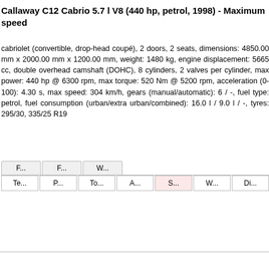Callaway C12 Cabrio 5.7 l V8 (440 hp, petrol, 1998) - Maximum speed
cabriolet (convertible, drop-head coupé), 2 doors, 2 seats, dimensions: 4850.00 mm x 2000.00 mm x 1200.00 mm, weight: 1480 kg, engine displacement: 5665 cc, double overhead camshaft (DOHC), 8 cylinders, 2 valves per cylinder, max power: 440 hp @ 6300 rpm, max torque: 520 Nm @ 5200 rpm, acceleration (0-100): 4.30 s, max speed: 304 km/h, gears (manual/automatic): 6 / -, fuel type: petrol, fuel consumption (urban/extra urban/combined): 16.0 l / 9.0 l / -, tyres: 295/30, 335/25 R19
[Figure (screenshot): Tab navigation UI with two rows: top row tabs F..., F..., W... and bottom row tabs Te..., P..., To..., A..., S... (highlighted), W..., Di...]